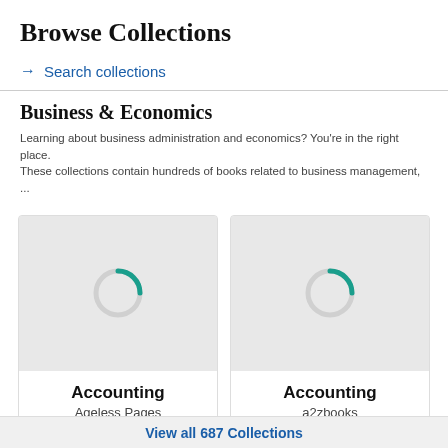Browse Collections
→ Search collections
Business & Economics
Learning about business administration and economics? You're in the right place. These collections contain hundreds of books related to business management, ...
[Figure (screenshot): Loading spinner card for Accounting collection by Ageless Pages, 6 items]
[Figure (screenshot): Loading spinner card for Accounting collection by a2zbooks, 16 items]
View all 687 Collections